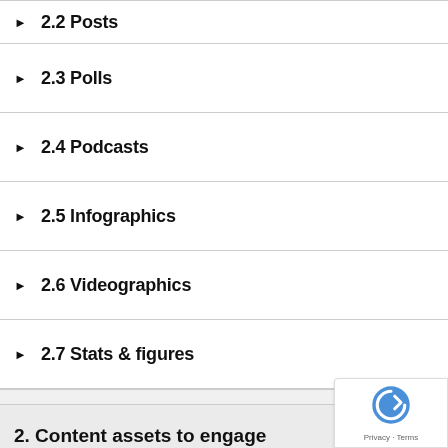2.2 Posts
2.3 Polls
2.4 Podcasts
2.5 Infographics
2.6 Videographics
2.7 Stats & figures
2. Content assets to engage
2.1 Ebooks
2.2 Whitepapers
2.3 Webinars
2.4 Cheat sheets